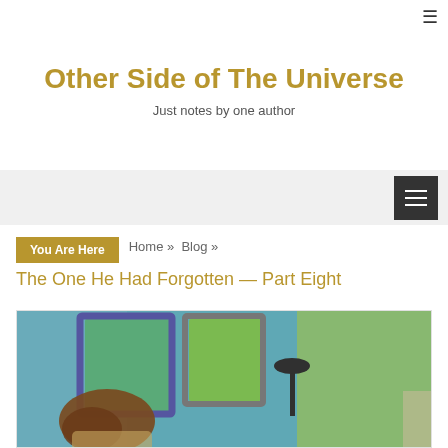Other Side of The Universe
Just notes by one author
The One He Had Forgotten — Part Eight
You Are Here  Home » Blog »
[Figure (illustration): Watercolor illustration of a person with long brown hair sitting or leaning, viewed from behind, with two green window frames in a blue-teal background, and a lamp silhouette on the right side.]